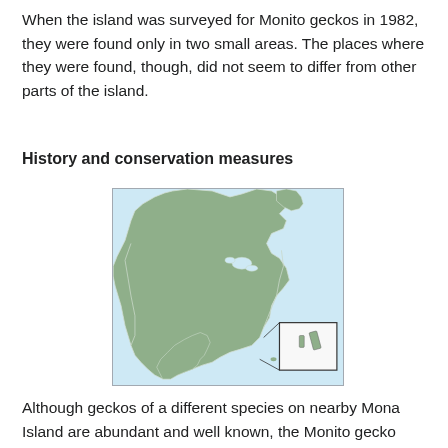When the island was surveyed for Monito geckos in 1982, they were found only in two small areas. The places where they were found, though, did not seem to differ from other parts of the island.
History and conservation measures
[Figure (map): Map of North America with an inset box in the lower right highlighting a small island region (Monito island area near Puerto Rico), with lines pointing to the location on the map.]
Although geckos of a different species on nearby Mona Island are abundant and well known, the Monito gecko was